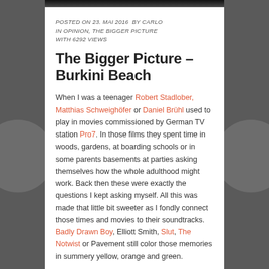[Figure (photo): Top strip of a dark photo, partially visible at the top of the page]
POSTED ON 23. MAI 2016  BY CARLO
IN OPINION, THE BIGGER PICTURE
WITH 6292 VIEWS
The Bigger Picture – Burkini Beach
When I was a teenager Robert Stadlober, Matthias Schweighöfer or Daniel Brühl used to play in movies commissioned by German TV station Pro7. In those films they spent time in woods, gardens, at boarding schools or in some parents basements at parties asking themselves how the whole adulthood might work. Back then these were exactly the questions I kept asking myself. All this was made that little bit sweeter as I fondly connect those times and movies to their soundtracks. Badly Drawn Boy, Elliott Smith, Slut, The Notwist or Pavement still color those memories in summery yellow, orange and green.